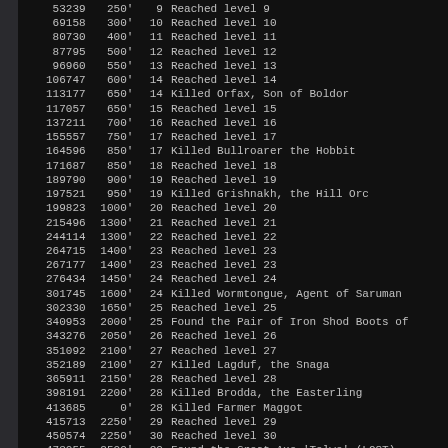| Score | Depth | Level | Event |
| --- | --- | --- | --- |
| 53239 | 250' | 9 | Reached level 9 |
| 69158 | 300' | 10 | Reached level 10 |
| 80730 | 400' | 11 | Reached level 11 |
| 87795 | 500' | 12 | Reached level 12 |
| 96960 | 550' | 13 | Reached level 13 |
| 106747 | 600' | 14 | Reached level 14 |
| 113177 | 650' | 14 | Killed Orfax, Son of Boldor |
| 117057 | 650' | 15 | Reached level 15 |
| 137211 | 700' | 16 | Reached level 16 |
| 155557 | 750' | 17 | Reached level 17 |
| 164596 | 850' | 17 | Killed Bullroarer the Hobbit |
| 171687 | 850' | 18 | Reached level 18 |
| 189790 | 900' | 19 | Reached level 19 |
| 197521 | 950' | 19 | Killed Grishnakh, the Hill Orc |
| 199823 | 1000' | 20 | Reached level 20 |
| 215496 | 1300' | 21 | Reached level 21 |
| 244114 | 1300' | 22 | Reached level 22 |
| 264715 | 1400' | 23 | Reached level 23 |
| 267177 | 1400' | 23 | Reached level 23 |
| 276434 | 1450' | 24 | Reached level 24 |
| 301745 | 1600' | 24 | Killed Wormtongue, Agent of Saruman |
| 302330 | 1650' | 25 | Reached level 25 |
| 340953 | 2000' | 25 | Found the Pair of Iron Shod Boots of |
| 343276 | 2050' | 26 | Reached level 26 |
| 351092 | 2100' | 27 | Reached level 27 |
| 352189 | 2100' | 27 | Killed Lagduf, the Snaga |
| 365911 | 2150' | 28 | Reached level 28 |
| 398191 | 2200' | 28 | Killed Brodda, the Easterling |
| 413685 | 0' | 28 | Killed Farmer Maggot |
| 415713 | 2250' | 29 | Reached level 29 |
| 450574 | 2250' | 30 | Reached level 30 |
| 473055 | 2500' | 30 | Found the Great Axe 'Tolwe' (LOST) |
| 474614 | 2500' | 31 | Reached level 31 |
| 481289 | 2600' | 30 | Killed Khim, Son of Mim |
| 482970 | 0' | 31 | Reached level 31 |
| 508606 | 2850' | 31 | Killed Angamaite of Umbar |
| 512719 | 2850' | 31 | Killed Tom the Stone Troll |
| 517717 | 3000' | 31 | Killed Beorn, the Shape Changer |